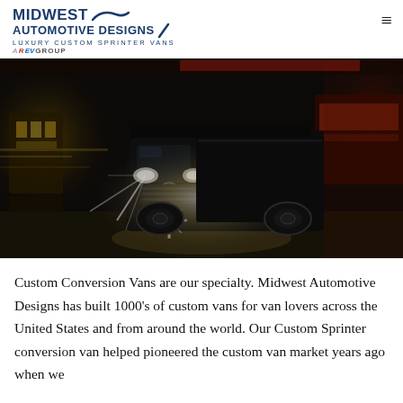MIDWEST AUTOMOTIVE DESIGNS | LUXURY CUSTOM SPRINTER VANS | REV GROUP
[Figure (photo): A dark Mercedes-Benz Sprinter van driving at night through an urban street with motion-blurred city lights and storefronts in the background. The van has its headlights on, creating lens flare effects.]
Custom Conversion Vans are our specialty. Midwest Automotive Designs has built 1000's of custom vans for van lovers across the United States and from around the world. Our Custom Sprinter conversion van helped pioneered the custom van market years ago when we